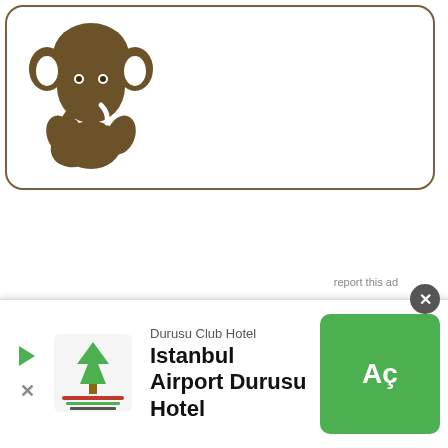[Figure (logo): Ganesha elephant deity logo in brown color inside a rounded rectangle border card]
[Figure (screenshot): Mobile advertisement banner for Durusu Club Hotel - Istanbul Airport Durusu Hotel with green 'Aç' (Open) button, hotel logo, play icon and close button]